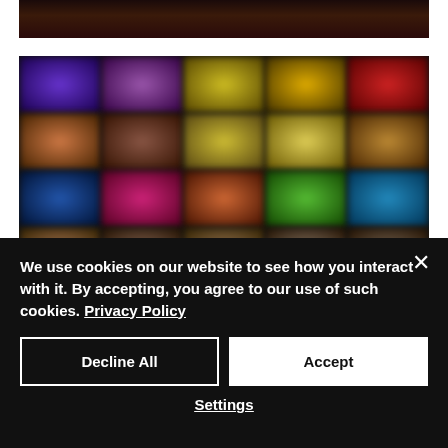[Figure (photo): Blurred dark-toned image strip at the top of the page]
[Figure (photo): Blurred colorful grid of game or app thumbnails arranged in four rows of five columns]
We use cookies on our website to see how you interact with it. By accepting, you agree to our use of such cookies. Privacy Policy
Decline All
Accept
Settings